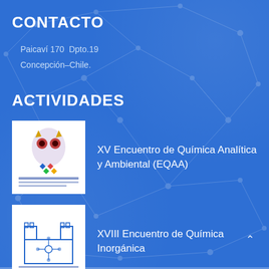CONTACTO
Paicaví 170  Dpto.19
Concepción–Chile.
ACTIVIDADES
[Figure (photo): Logo/poster for XV Encuentro de Química Analítica y Ambiental (EQAA) — colorful decorative owl/mask illustration with symposium text]
XV Encuentro de Química Analítica y Ambiental (EQAA)
[Figure (logo): Logo for XVIII Encuentro de Química Inorgánica — building/architecture illustration in blue outlines]
XVIII Encuentro de Química Inorgánica